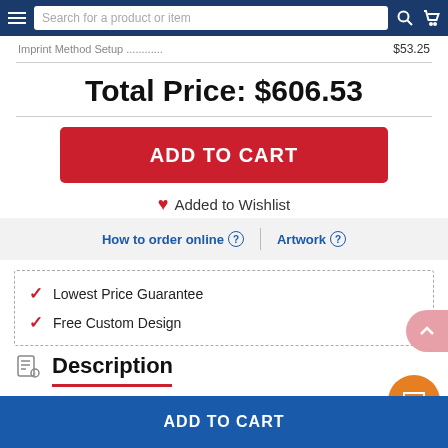Search for a product or item
Imprint Method Setup ............ $53.25
Total Price: $606.53
ADD TO CART
Added to Wishlist
How to order online ? | Artwork ?
Lowest Price Guarantee
Free Custom Design
Description
Promotional Logo Lamborghini Multipurpose Shoulder Bags
ADD TO CART